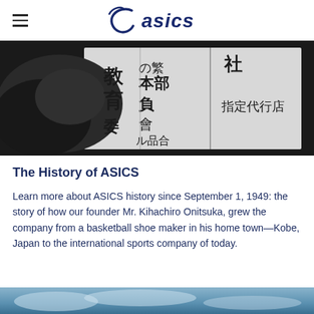ASICS logo and navigation
[Figure (photo): Black and white photograph of a Japanese storefront sign with kanji characters, vintage historical image related to ASICS founding]
The History of ASICS
Learn more about ASICS history since September 1, 1949: the story of how our founder Mr. Kihachiro Onitsuka, grew the company from a basketball shoe maker in his home town—Kobe, Japan to the international sports company of today.
[Figure (photo): Partial view of another image at the bottom of the page, appears to show a sky scene]